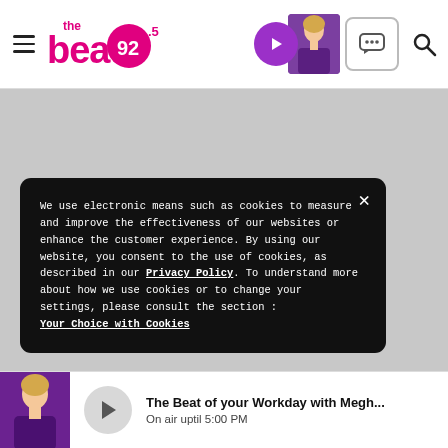the beat 92.5 — navigation bar with hamburger menu, logo, now playing button, chat button, search button
[Figure (screenshot): Gray content area below the navigation bar — main page body, partially obscured by cookie consent overlay]
We use electronic means such as cookies to measure and improve the effectiveness of our websites or enhance the customer experience. By using our website, you consent to the use of cookies, as described in our Privacy Policy. To understand more about how we use cookies or to change your settings, please consult the section : Your Choice with Cookies
The Beat of your Workday with Megh... — On air uptil 5:00 PM